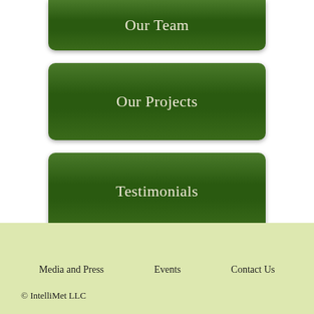Our Team
Our Projects
Testimonials
Contact Us
Media and Press   Events   Contact Us
© IntelliMet LLC